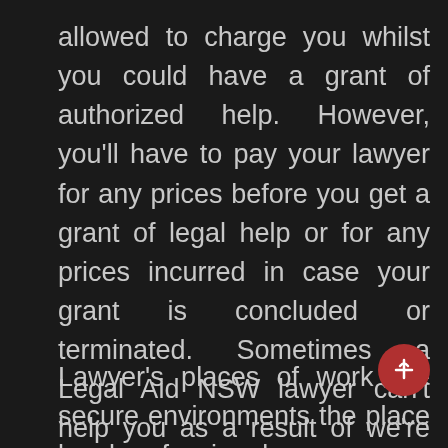allowed to charge you whilst you could have a grant of authorized help. However, you'll have to pay your lawyer for any prices before you get a grant of legal help or for any prices incurred in case your grant is concluded or terminated. Sometimes a Legal Aid NSW lawyer can't help you as a result of we're performing for another person in your dispute. If you're granted authorized aid and this occurs, we can pay a non-public lawyer to help you.
Lawyer's places of work are secure environments the place legal professional-